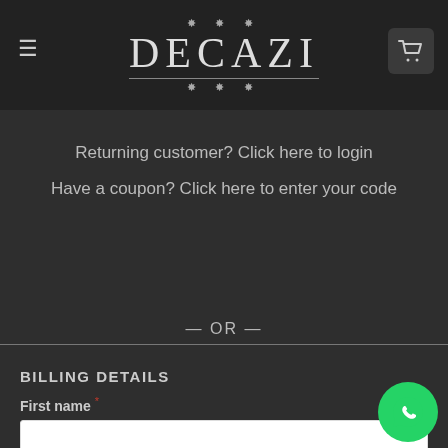[Figure (logo): DECAZI brand logo with ornamental flourishes above and below, white text on dark background]
Returning customer? Click here to login
Have a coupon? Click here to enter your code
— OR —
BILLING DETAILS
First name *